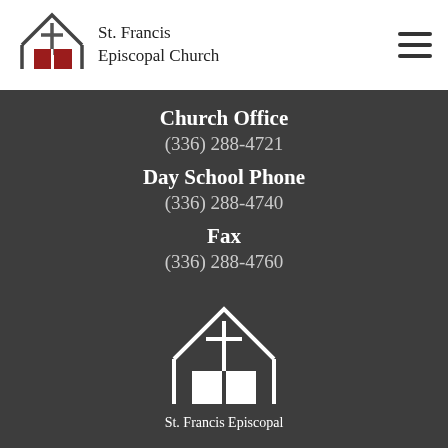[Figure (logo): St. Francis Episcopal Church logo with house/church outline, cross, and red rectangular doors]
St. Francis Episcopal Church
Church Office
(336) 288-4721
Day School Phone
(336) 288-4740
Fax
(336) 288-4760
[Figure (logo): St. Francis Episcopal Church white logo on dark background with house/church outline and cross]